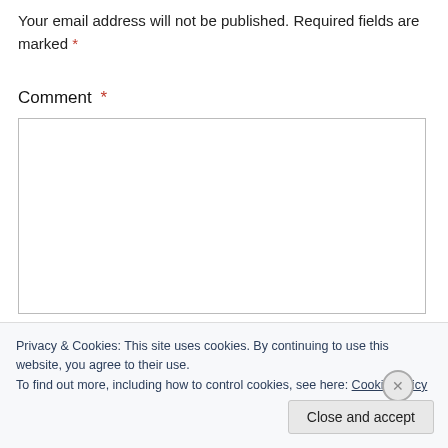Your email address will not be published. Required fields are marked *
Comment *
[Figure (other): Empty comment textarea input box with border]
Privacy & Cookies: This site uses cookies. By continuing to use this website, you agree to their use.
To find out more, including how to control cookies, see here: Cookie Policy
Close and accept